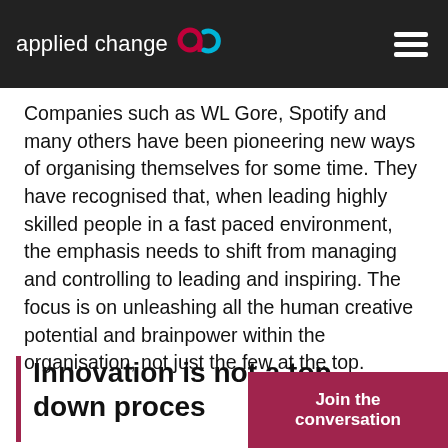applied change
Companies such as WL Gore, Spotify and many others have been pioneering new ways of organising themselves for some time. They have recognised that, when leading highly skilled people in a fast paced environment, the emphasis needs to shift from managing and controlling to leading and inspiring. The focus is on unleashing all the human creative potential and brainpower within the organisation, not just the few at the top.
Innovation is not a top down proces
Join the conversation